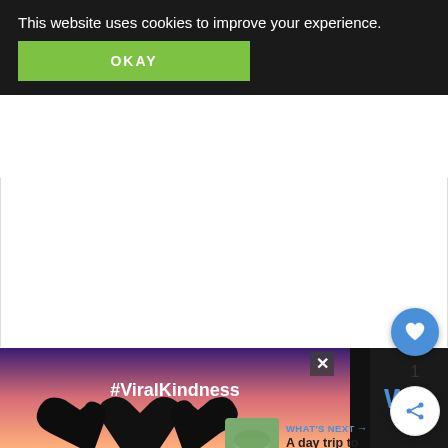This website uses cookies to improve your experience.
OKAY
[Figure (screenshot): White content area background]
[Figure (infographic): Blue circular like/heart button with count of 1, and white circular share button]
1
WHAT'S NEXT → A day trip to Saint Emilio...
[Figure (photo): Advertisement banner with silhouette of hands forming a heart shape and text #ViralKindness on dark/sunset background, with close X button and logo]